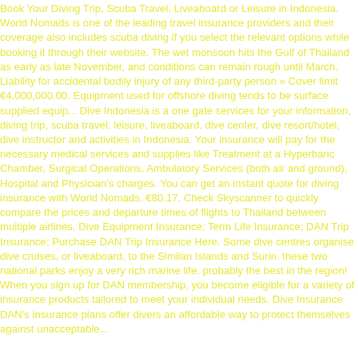Book Your Diving Trip, Scuba Travel, Liveaboard or Leisure in Indonesia. World Nomads is one of the leading travel insurance providers and their coverage also includes scuba diving if you select the relevant options while booking it through their website. The wet monsoon hits the Gulf of Thailand as early as late November, and conditions can remain rough until March. Liability for accidental bodily injury of any third-party person » Cover limit €4,000,000.00. Equipment used for offshore diving tends to be surface supplied equip... Dive Indonesia is a one gate services for your information, diving trip, scuba travel, leisure, liveaboard, dive center, dive resort/hotel, dive instructor and activities in Indonesia. Your insurance will pay for the necessary medical services and supplies like Treatment at a Hyperbaric Chamber, Surgical Operations, Ambulatory Services (both air and ground), Hospital and Physician's charges. You can get an instant quote for diving insurance with World Nomads. €80.17. Check Skyscanner to quickly compare the prices and departure times of flights to Thailand between multiple airlines. Dive Equipment Insurance; Term Life Insurance; DAN Trip Insurance; Purchase DAN Trip Insurance Here. Some dive centres organise dive cruises, or liveaboard, to the Similan Islands and Surin. these two national parks enjoy a very rich marine life, probably the best in the region! When you sign up for DAN membership, you become eligible for a variety of insurance products tailored to meet your individual needs. Dive Insurance DAN's insurance plans offer divers an affordable way to protect themselves against unacceptable...